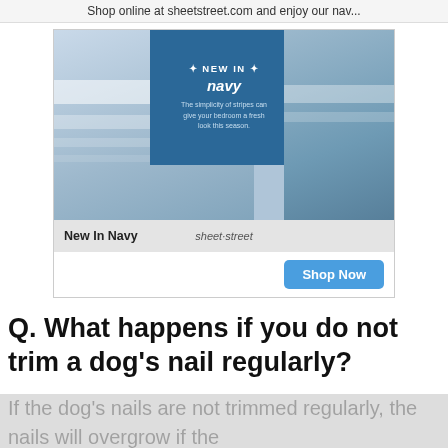Shop online at sheetstreet.com and enjoy our nav...
[Figure (screenshot): Advertisement for Sheet Street bedding showing navy striped pillows and bedding. Blue overlay box with text 'NEW IN navy - The simplicity of stripes can give your bedroom a fresh look this season.' Caption 'New In Navy' and brand 'sheet-street' with a 'Shop Now' blue button.]
Q. What happens if you do not trim a dog’s nail regularly?
If the dog’s nails are not trimmed regularly, the nails will overgrow if the